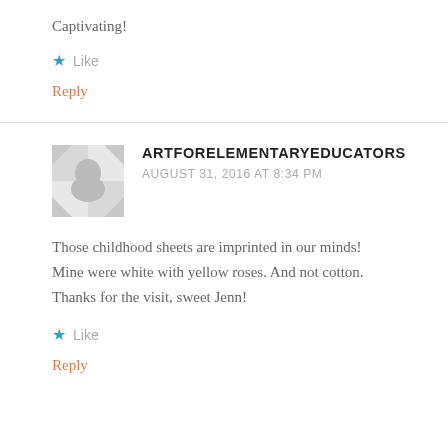Captivating!
★ Like
Reply
ARTFORELEMENTARYEDUCATORS
AUGUST 31, 2016 AT 8:34 PM
Those childhood sheets are imprinted in our minds! Mine were white with yellow roses. And not cotton. Thanks for the visit, sweet Jenn!
★ Like
Reply